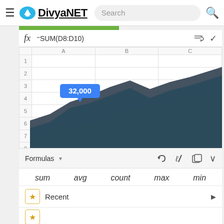DivyaNET — Search
[Figure (area-chart): Three-series area chart with dark navy, cyan, and yellow-green layers. A blue tooltip shows '32,000'. Displayed inside a spreadsheet grid with columns A, B, C and rows 1-9.]
Formulas
sum
avg
count
max
min
Recent